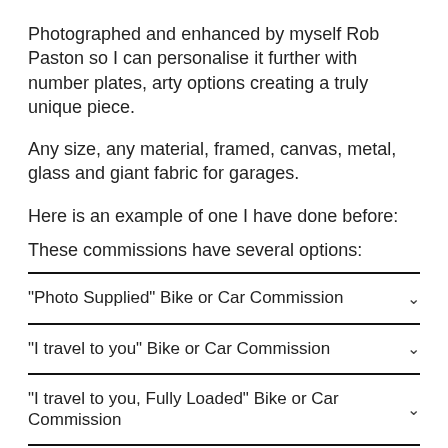Photographed and enhanced by myself Rob Paston so I can personalise it further with number plates, arty options creating a truly unique piece.
Any size, any material, framed, canvas, metal, glass and giant fabric for garages.
Here is an example of one I have done before:
These commissions have several options:
"Photo Supplied" Bike or Car Commission
"I travel to you" Bike or Car Commission
"I travel to you, Fully Loaded" Bike or Car Commission
“Smaller Budget-friendly Offerings”